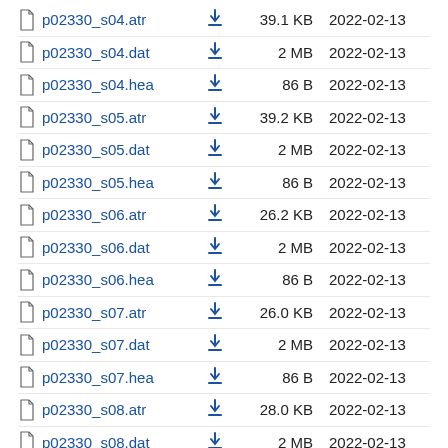p02330_s04.atr  39.1 KB  2022-02-13
p02330_s04.dat  2 MB  2022-02-13
p02330_s04.hea  86 B  2022-02-13
p02330_s05.atr  39.2 KB  2022-02-13
p02330_s05.dat  2 MB  2022-02-13
p02330_s05.hea  86 B  2022-02-13
p02330_s06.atr  26.2 KB  2022-02-13
p02330_s06.dat  2 MB  2022-02-13
p02330_s06.hea  86 B  2022-02-13
p02330_s07.atr  26.0 KB  2022-02-13
p02330_s07.dat  2 MB  2022-02-13
p02330_s07.hea  86 B  2022-02-13
p02330_s08.atr  28.0 KB  2022-02-13
p02330_s08.dat  2 MB  2022-02-13